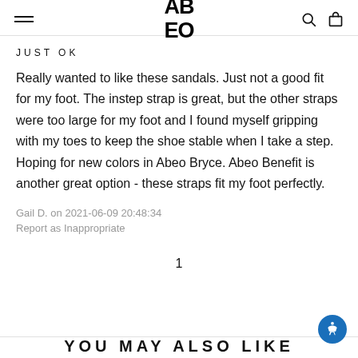ABEO
JUST OK
Really wanted to like these sandals. Just not a good fit for my foot. The instep strap is great, but the other straps were too large for my foot and I found myself gripping with my toes to keep the shoe stable when I take a step. Hoping for new colors in Abeo Bryce. Abeo Benefit is another great option - these straps fit my foot perfectly.
Gail D. on 2021-06-09 20:48:34
Report as Inappropriate
1
YOU MAY ALSO LIKE